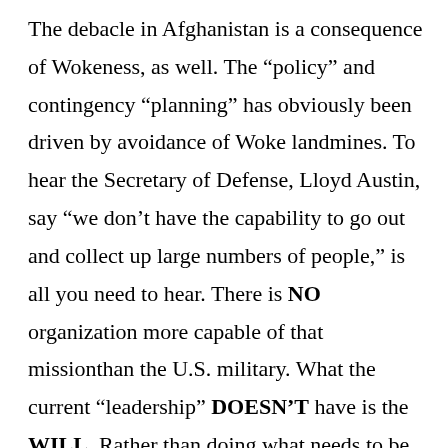The debacle in Afghanistan is a consequence of Wokeness, as well. The “policy” and contingency “planning” has obviously been driven by avoidance of Woke landmines. To hear the Secretary of Defense, Lloyd Austin, say “we don’t have the capability to go out and collect up large numbers of people,” is all you need to hear. There is NO organization more capable of that missionthan the U.S. military. What the current “leadership” DOESN’T have is the WILL. Rather than doing what needs to be done, they are avoiding the possibility of another “Blackhawk Down” scenario. They fear being viewed as “anti-Islamic” if a confrontation or fire fight ensues. Despite the fact